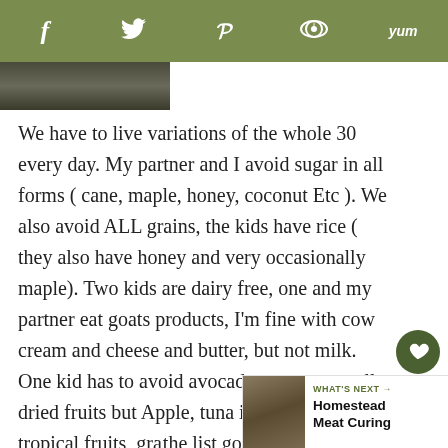f  [twitter]  p  [reddit]  yum
[Figure (photo): Dark photo strip, partially visible landscape or nature image]
We have to live variations of the whole 30 every day. My partner and I avoid sugar in all forms ( cane, maple, honey, coconut Etc ). We also avoid ALL grains, the kids have rice ( they also have honey and very occasionally maple). Two kids are dairy free, one and my partner eat goats products, I'm fine with cow cream and cheese and butter, but not milk. One kid has to avoid avocado, raw cacao, all dried fruits but Apple, tuna in a can, many tropical fruits, gra[p]... the list goes on. All our food is cooked from